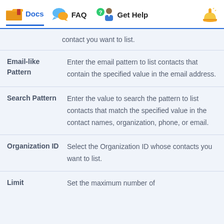Docs   FAQ   Get Help
contact you want to list.
| Field | Description |
| --- | --- |
| Email-like Pattern | Enter the email pattern to list contacts that contain the specified value in the email address. |
| Search Pattern | Enter the value to search the pattern to list contacts that match the specified value in the contact names, organization, phone, or email. |
| Organization ID | Select the Organization ID whose contacts you want to list. |
| Limit | Set the maximum number of |